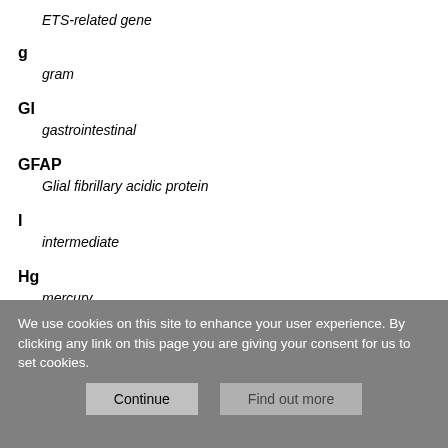ETS-related gene
g
gram
GI
gastrointestinal
GFAP
Glial fibrillary acidic protein
I
intermediate
Hg
mercury
We use cookies on this site to enhance your user experience. By clicking any link on this page you are giving your consent for us to set cookies.